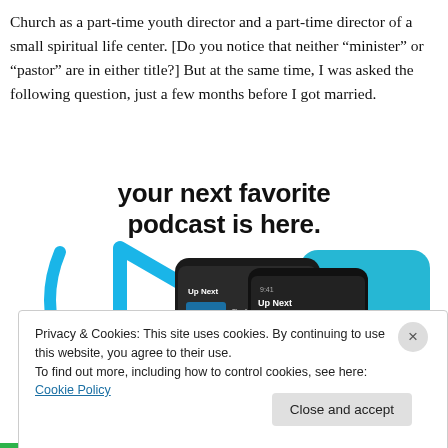Church as a part-time youth director and a part-time director of a small spiritual life center. [Do you notice that neither “minister” or “pastor” are in either title?] But at the same time, I was asked the following question, just a few months before I got married.
[Figure (infographic): Podcast advertisement showing 'Your next favorite podcast is here.' with two smartphone mockups displaying 'Up Next' podcast app, surrounded by blue curved play button icon and teal accent shape. Background is white.]
Privacy & Cookies: This site uses cookies. By continuing to use this website, you agree to their use.
To find out more, including how to control cookies, see here: Cookie Policy
Close and accept